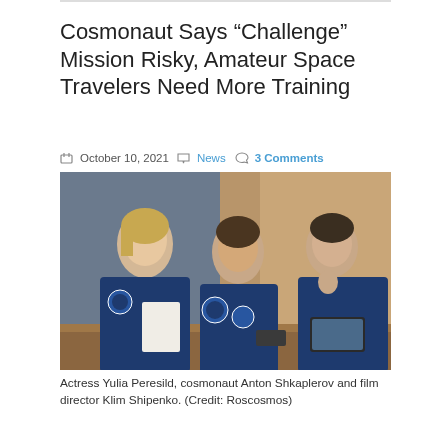Cosmonaut Says “Challenge” Mission Risky, Amateur Space Travelers Need More Training
October 10, 2021  News  3 Comments
[Figure (photo): Actress Yulia Peresild, cosmonaut Anton Shkaplerov and film director Klim Shipenko seated at a table in blue flight suits, reviewing documents.]
Actress Yulia Peresild, cosmonaut Anton Shkaplerov and film director Klim Shipenko. (Credit: Roscosmos)